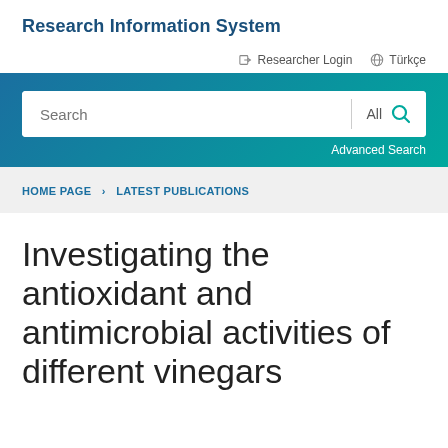Research Information System
Researcher Login   Türkçe
[Figure (screenshot): Search bar with 'Search' input field, 'All' dropdown, and magnifying glass icon on a teal/blue gradient background, with 'Advanced Search' link below]
HOME PAGE > LATEST PUBLICATIONS
Investigating the antioxidant and antimicrobial activities of different vinegars